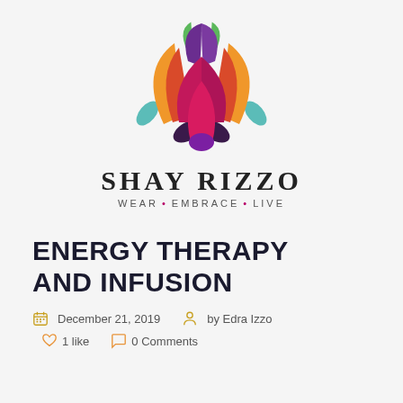[Figure (logo): Colorful lotus flower logo with petals in purple, magenta/pink, orange, red, teal/green, blue, and dark purple colors arranged symmetrically]
SHAY RIZZO
WEAR • EMBRACE • LIVE
ENERGY THERAPY AND INFUSION
December 21, 2019   by Edra Izzo
1 like   0 Comments